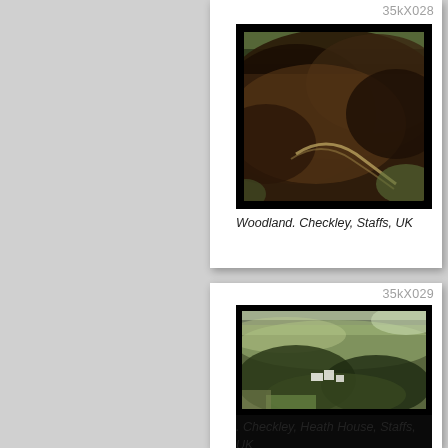35kX028
[Figure (photo): Aerial photograph of woodland area at Checkley, Staffs, UK. Dark forested hillside with rocky terrain and a road or path visible below.]
Woodland. Checkley, Staffs, UK
35kX029
[Figure (photo): Aerial photograph of Heath House, Checkley, Staffs, UK. Shows green fields, wooded areas and buildings from above.]
. Checkley, Heath House, Staffs, UK